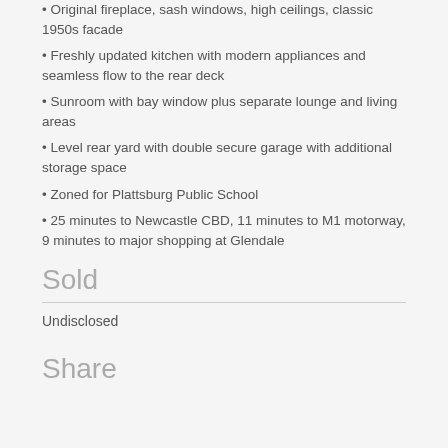• Original fireplace, sash windows, high ceilings, classic 1950s facade
• Freshly updated kitchen with modern appliances and seamless flow to the rear deck
• Sunroom with bay window plus separate lounge and living areas
• Level rear yard with double secure garage with additional storage space
• Zoned for Plattsburg Public School
• 25 minutes to Newcastle CBD, 11 minutes to M1 motorway, 9 minutes to major shopping at Glendale
Sold
Undisclosed
Share